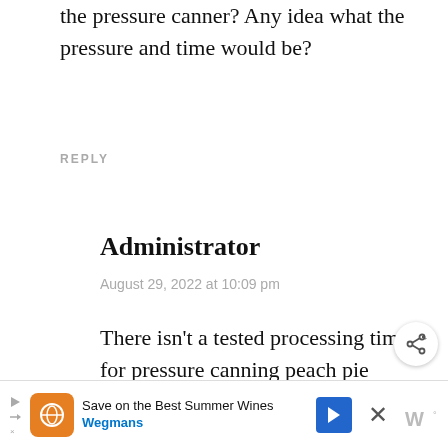the pressure canner? Any idea what the pressure and time would be?
REPLY
Administrator
August 29, 2022 at 10:09 pm
There isn't a tested processing time for pressure canning peach pie filling. I would just
[Figure (screenshot): Share icon button (circle with share symbol)]
[Figure (infographic): What's Next overlay: thumbnail of wood ash, text '70+ Uses for Wood Ash']
[Figure (screenshot): Advertisement banner: Save on the Best Summer Wines - Wegmans]